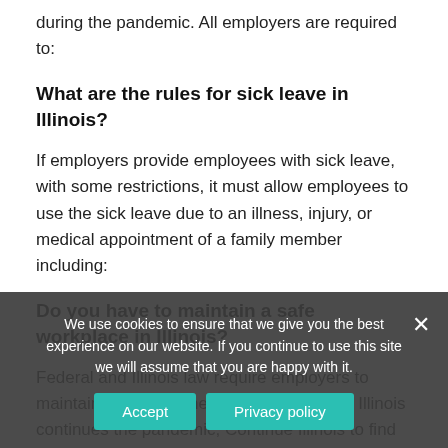during the pandemic. All employers are required to:
What are the rules for sick leave in Illinois?
If employers provide employees with sick leave, with some restrictions, it must allow employees to use the sick leave due to an illness, injury, or medical appointment of a family member including:
Do you have to maintain a safe workplace in Illinois?
Federal and Illinois law require employers to maintain a safe and healthy workplace. As Illinois continues the pandemic, Continue Illinois to find and adopt mitigation measures, employers and employees are navigating difficult questions about how to maintain a safe and healthy workplace during the
We use cookies to ensure that we give you the best experience on our website. If you continue to use this site we will assume that you are happy with it.